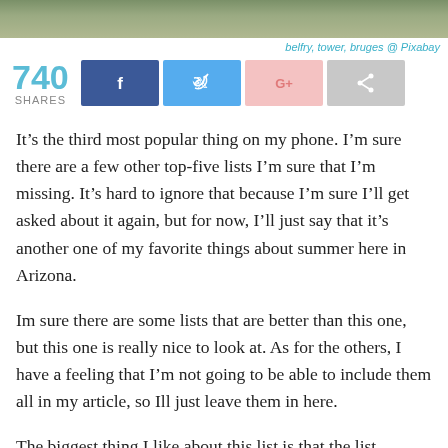[Figure (photo): Partial photo of belfry tower in Bruges, showing vegetation/stone at bottom of frame]
belfry, tower, bruges @ Pixabay
740 SHARES
It’s the third most popular thing on my phone. I’m sure there are a few other top-five lists I’m sure that I’m missing. It’s hard to ignore that because I’m sure I’ll get asked about it again, but for now, I’ll just say that it’s another one of my favorite things about summer here in Arizona.
Im sure there are some lists that are better than this one, but this one is really nice to look at. As for the others, I have a feeling that I’m not going to be able to include them all in my article, so Ill just leave them in here.
The biggest thing I like about this list is that the list...